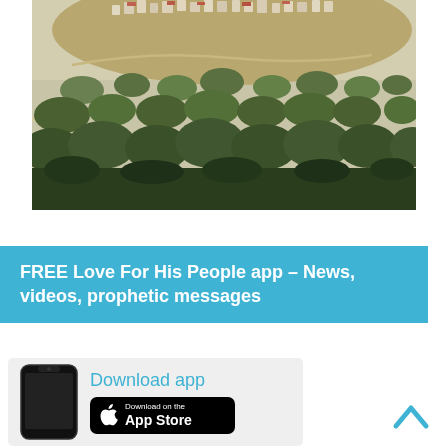[Figure (photo): Aerial/hillside view of a Middle Eastern town with white buildings clustered on a hill, surrounded by olive trees and scrubland in golden afternoon light. A wall or road runs across the hillside.]
FREE Love For His People app – News, videos, prophetic messages
Download app
[Figure (illustration): Smartphone (iPhone style) outline illustration shown beside the Download app text and App Store button.]
[Figure (logo): Download on the App Store button (black background with Apple logo)]